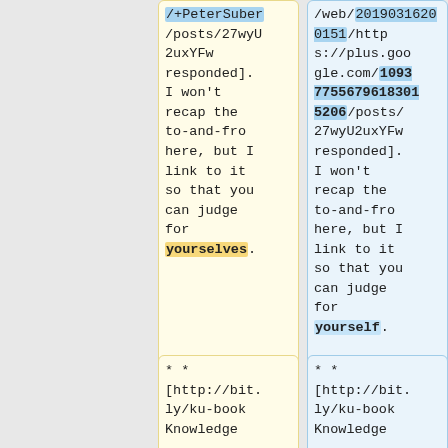/+PeterSuber/posts/27wyU2uxYFw responded]. I won't recap the to-and-fro here, but I link to it so that you can judge for yourselves.
/web/20190316200151/https://plus.google.com/109377556796183035206/posts/27wyU2uxYFw responded]. I won't recap the to-and-fro here, but I link to it so that you can judge for yourself.
** [http://bit.ly/ku-book Knowledge
** [http://bit.ly/ku-book Knowledge